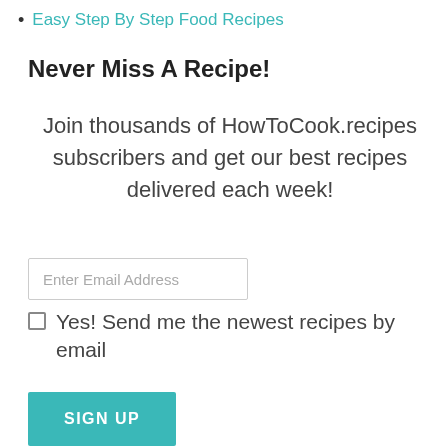Easy Step By Step Food Recipes
Never Miss A Recipe!
Join thousands of HowToCook.recipes subscribers and get our best recipes delivered each week!
Enter Email Address
Yes! Send me the newest recipes by email
SIGN UP